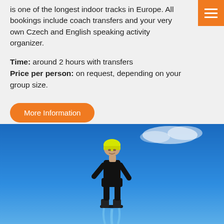is one of the longest indoor tracks in Europe. All bookings include coach transfers and your very own Czech and English speaking activity organizer.
Time: around 2 hours with transfers
Price per person: on request, depending on your group size.
More Information
[Figure (photo): A person wearing a yellow helmet and black clothing performing flyboarding or hoverboarding high in the air against a bright blue sky.]